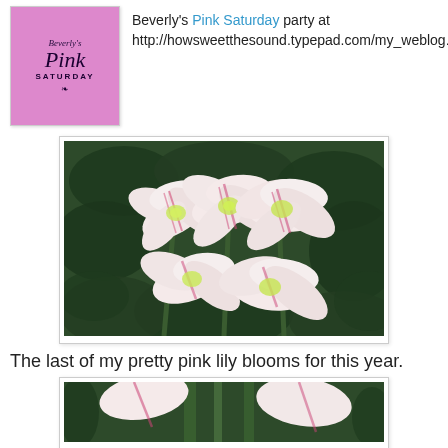[Figure (logo): Beverly's Pink Saturday badge/logo — pink background with script text reading Beverly's Pink Saturday]
Beverly's Pink Saturday party at http://howsweetthesound.typepad.com/my_weblog.
[Figure (photo): Photograph of pink and white lily (amaryllis) blooms with green foliage in the background]
The last of my pretty pink lily blooms for this year.
[Figure (photo): Partial photograph of pink and white lily blooms, cropped at bottom of page]